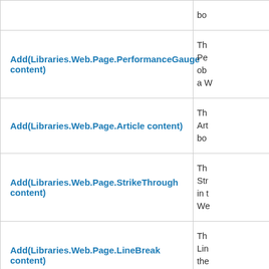| Method | Description |
| --- | --- |
|  | bo |
| Add(Libraries.Web.Page.PerformanceGauge content) | Th Pe ob a W |
| Add(Libraries.Web.Page.Article content) | Th Art bo |
| Add(Libraries.Web.Page.StrikeThrough content) | Th Str in t We |
| Add(Libraries.Web.Page.LineBreak content) | Th Lin the We |
|  | Th |